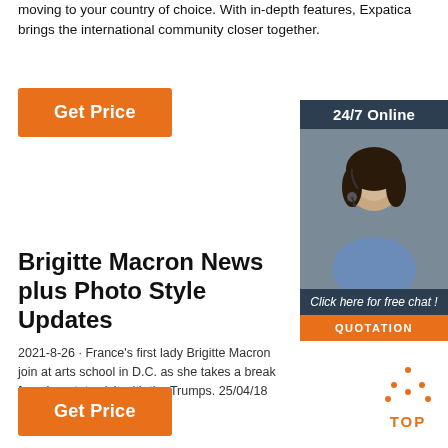moving to your country of choice. With in-depth features, Expatica brings the international community closer together.
[Figure (other): Orange 'Get Price' button (top)]
[Figure (other): Advertisement widget: '24/7 Online' with agent photo, 'Click here for free chat!' text, and orange QUOTATION button]
Brigitte Macron News plus Photos Style Updates
2021-8-26 · France's first lady Brigitte Macron join at arts school in D.C. as she takes a break from her state visit with the Trumps. 25/04/18 22:30. …
[Figure (other): Orange 'Get Price' button (bottom)]
[Figure (other): Orange 'TOP' back-to-top button with dotted triangle icon]